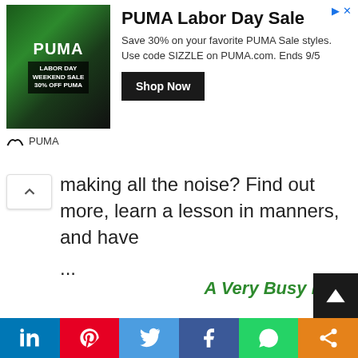[Figure (screenshot): PUMA Labor Day Sale advertisement banner with photo of athlete, PUMA logo, headline 'PUMA Labor Day Sale', body text 'Save 30% on your favorite PUMA Sale styles. Use code SIZZLE on PUMA.com. Ends 9/5', and 'Shop Now' button]
making all the noise? Find out more, learn a lesson in manners, and have
...
A Very Busy Day
– A trip out to the shops - In A Very Busy Day a little girl goes to the shops with her Mama, they visit a great many places, groceries, shoes, and more. The text also explores
[Figure (screenshot): Social sharing bar with LinkedIn, Pinterest, Twitter, Facebook, WhatsApp, and share buttons in colored backgrounds]